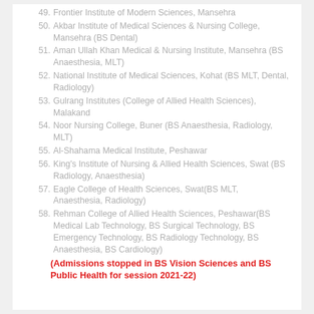49. Frontier Institute of Modern Sciences, Mansehra
50. Akbar Institute of Medical Sciences & Nursing College, Mansehra (BS Dental)
51. Aman Ullah Khan Medical & Nursing Institute, Mansehra (BS Anaesthesia, MLT)
52. National Institute of Medical Sciences, Kohat (BS MLT, Dental, Radiology)
53. Gulrang Institutes (College of Allied Health Sciences), Malakand
54. Noor Nursing College, Buner (BS Anaesthesia, Radiology, MLT)
55. Al-Shahama Medical Institute, Peshawar
56. King's Institute of Nursing & Allied Health Sciences, Swat (BS Radiology, Anaesthesia)
57. Eagle College of Health Sciences, Swat(BS MLT, Anaesthesia, Radiology)
58. Rehman College of Allied Health Sciences, Peshawar(BS Medical Lab Technology, BS Surgical Technology, BS Emergency Technology, BS Radiology Technology, BS Anaesthesia, BS Cardiology)
(Admissions stopped in BS Vision Sciences and BS Public Health for session 2021-22)